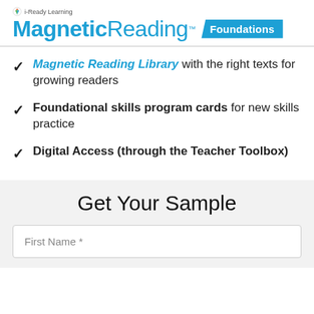[Figure (logo): i-Ready Learning Magnetic Reading Foundations logo with teal branding and badge]
Magnetic Reading Library with the right texts for growing readers
Foundational skills program cards for new skills practice
Digital Access (through the Teacher Toolbox)
Get Your Sample
First Name *